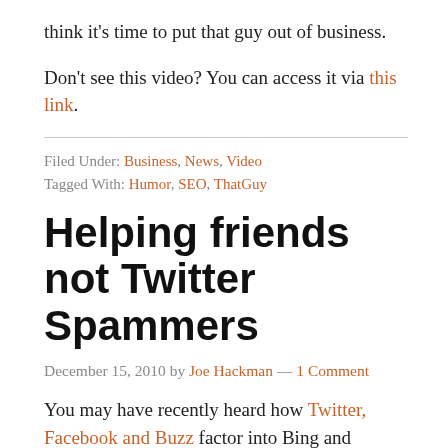think it's time to put that guy out of business.
Don't see this video? You can access it via this link.
Filed Under: Business, News, Video
Tagged With: Humor, SEO, ThatGuy
Helping friends not Twitter Spammers
December 15, 2010 by Joe Hackman — 1 Comment
You may have recently heard how Twitter, Facebook and Buzz factor into Bing and